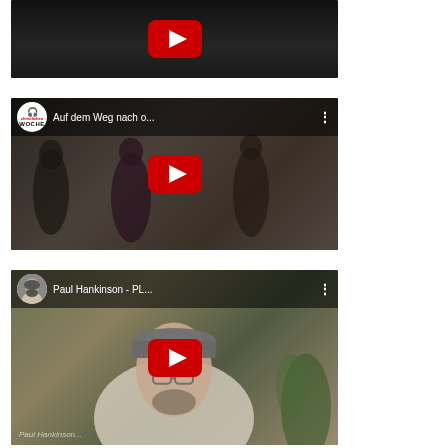[Figure (screenshot): YouTube video thumbnail (cropped, top portion only visible) with a dark background showing a figure, and a red YouTube play button in the center.]
[Figure (screenshot): YouTube video thumbnail showing 'Auf dem Weg nach o...' from the Christlichen Woche channel, with people in background and a red YouTube play button.]
[Figure (screenshot): YouTube video thumbnail showing 'Paul Hankinson - PL...' with a man wearing a cap and glasses outdoors with plants in background, red YouTube play button.]